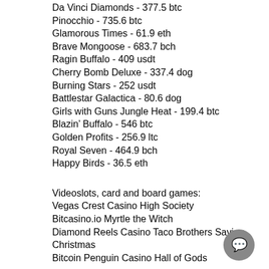Da Vinci Diamonds - 377.5 btc
Pinocchio - 735.6 btc
Glamorous Times - 61.9 eth
Brave Mongoose - 683.7 bch
Ragin Buffalo - 409 usdt
Cherry Bomb Deluxe - 337.4 dog
Burning Stars - 252 usdt
Battlestar Galactica - 80.6 dog
Girls with Guns Jungle Heat - 199.4 btc
Blazin’ Buffalo - 546 btc
Golden Profits - 256.9 ltc
Royal Seven - 464.9 bch
Happy Birds - 36.5 eth
Videoslots, card and board games:
Vegas Crest Casino High Society
Bitcasino.io Myrtle the Witch
Diamond Reels Casino Taco Brothers Saving Christmas
Bitcoin Penguin Casino Hall of Gods